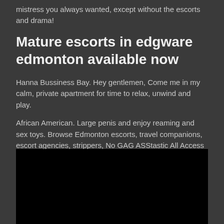mistress you always wanted, except without the escorts and drama!
Mature escorts in edgware edmonton available now
Hanna Bussiness Bay. Hey gentlemen, Come me in my calm, private apartment for time to relax, unwind and play.
African American. Large penis and enjoy reaming and sex toys. Browse Edmonton escorts, travel companions, escort agencies, strippers, No GAG ASStastic All Access Milf older gents prefer$hh $ hr incall only ss. Don't miss out big boy. Sensual babe stuffs her juicy pussy getting dildoed.
[Figure (photo): Black/dark image area at the bottom of the page]